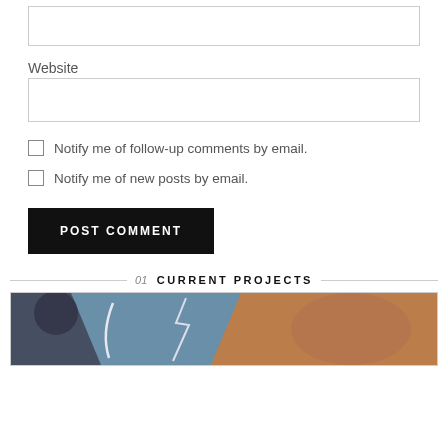(empty input box)
Website
(website input box)
Notify me of follow-up comments by email.
Notify me of new posts by email.
POST COMMENT
01 CURRENT PROJECTS
[Figure (photo): Partially visible promotional image showing two faces, one with orange/warm tones on the right side, against a blue-grey background, with stylized white line design element.]